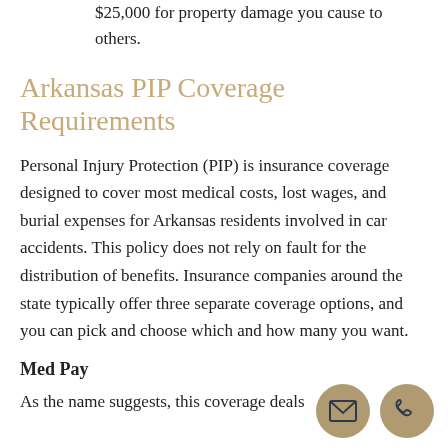$25,000 for property damage you cause to others.
Arkansas PIP Coverage Requirements
Personal Injury Protection (PIP) is insurance coverage designed to cover most medical costs, lost wages, and burial expenses for Arkansas residents involved in car accidents. This policy does not rely on fault for the distribution of benefits. Insurance companies around the state typically offer three separate coverage options, and you can pick and choose which and how many you want.
Med Pay
As the name suggests, this coverage deals